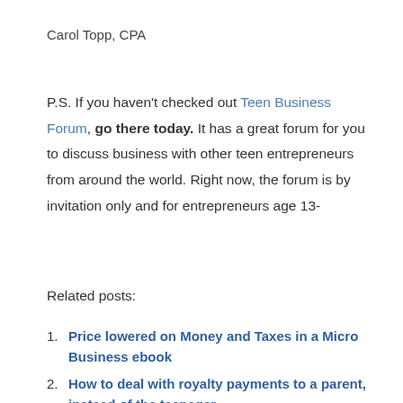Carol Topp, CPA
P.S. If you haven't checked out Teen Business Forum, go there today. It has a great forum for you to discuss business with other teen entrepreneurs from around the world. Right now, the forum is by invitation only and for entrepreneurs age 13-
Related posts:
Price lowered on Money and Taxes in a Micro Business ebook
How to deal with royalty payments to a parent, instead of the teenager